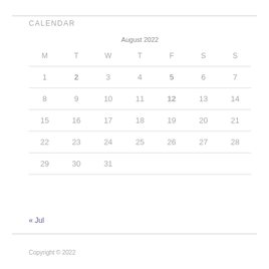CALENDAR
| M | T | W | T | F | S | S |
| --- | --- | --- | --- | --- | --- | --- |
| 1 | 2 | 3 | 4 | 5 | 6 | 7 |
| 8 | 9 | 10 | 11 | 12 | 13 | 14 |
| 15 | 16 | 17 | 18 | 19 | 20 | 21 |
| 22 | 23 | 24 | 25 | 26 | 27 | 28 |
| 29 | 30 | 31 |  |  |  |  |
« Jul
Copyright © 2022